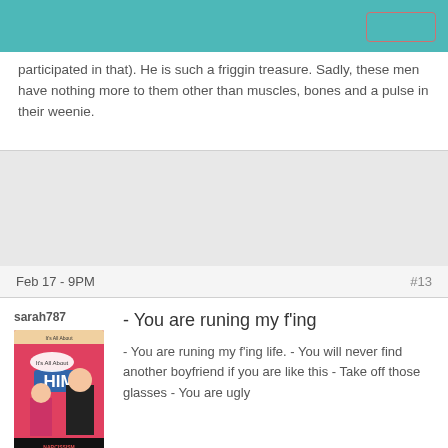participated in that). He is such a friggin treasure. Sadly, these men have nothing more to them other than muscles, bones and a pulse in their weenie.
Feb 17 - 9PM #13
sarah787
[Figure (photo): Book cover for 'It's All About HIM' with cartoon couple and text 'How to Spot the Men Who Will Never Change and Love the Ones Who Will' and 'NARCISSISM' visible]
- You are runing my f'ing
- You are runing my f'ing life. - You will never find another boyfriend if you are like this - Take off those glasses - You are ugly